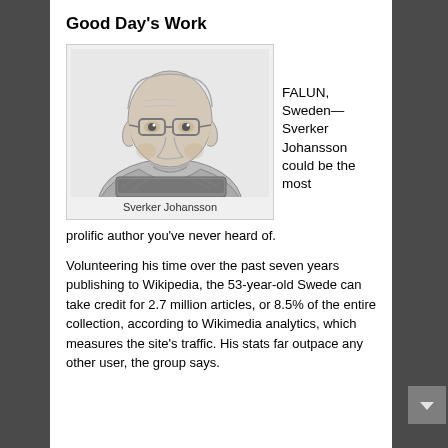Good Day's Work
[Figure (illustration): Pencil sketch portrait of Sverker Johansson, an older heavyset man with glasses, sitting behind what appears to be a laptop or book.]
Sverker Johansson
FALUN, Sweden—Sverker Johansson could be the most prolific author you've never heard of.
Volunteering his time over the past seven years publishing to Wikipedia, the 53-year-old Swede can take credit for 2.7 million articles, or 8.5% of the entire collection, according to Wikimedia analytics, which measures the site's traffic. His stats far outpace any other user, the group says.